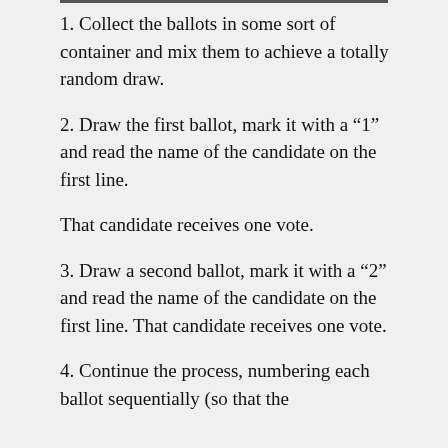1. Collect the ballots in some sort of container and mix them to achieve a totally random draw.
2. Draw the first ballot, mark it with a “1” and read the name of the candidate on the first line.
That candidate receives one vote.
3. Draw a second ballot, mark it with a “2” and read the name of the candidate on the first line. That candidate receives one vote.
4. Continue the process, numbering each ballot sequentially (so that the